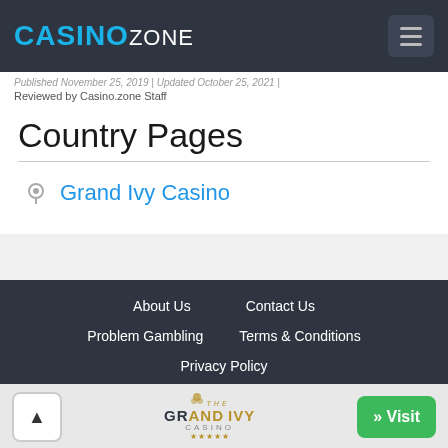CASINO ZONE
Published November 25, 2019 | Updated October 25, 2021 | Reviewed by Casino.zone Staff
Country Pages
Grand Ivy Casino
About Us | Contact Us | Problem Gambling | Terms & Conditions | Privacy Policy
[Figure (logo): The Grand Ivy Casino logo with scroll-to-top button and Visit button]